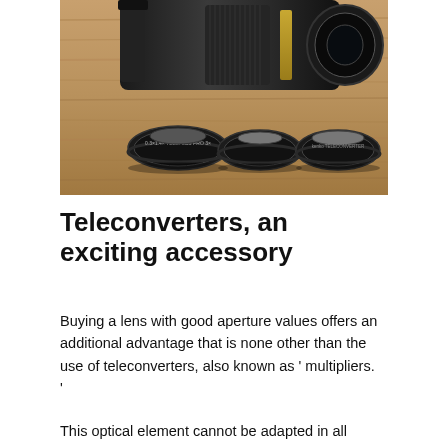[Figure (photo): A large camera telephoto lens and three teleconverter accessories laid out on a wooden surface, photographed from above.]
Teleconverters, an exciting accessory
Buying a lens with good aperture values offers an additional advantage that is none other than the use of teleconverters, also known as ‘ multipliers. ’
This optical element cannot be adapted in all